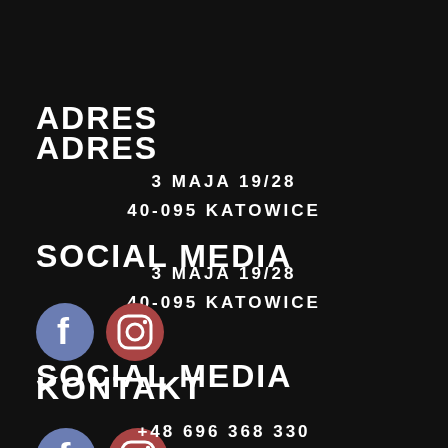ADRES
3 MAJA 19/28
40-095 KATOWICE
SOCIAL MEDIA
[Figure (logo): Facebook and Instagram social media icons — Facebook logo (blue circle with white f) and Instagram logo (reddish circle with camera outline)]
KONTAKT
+48 696 368 330